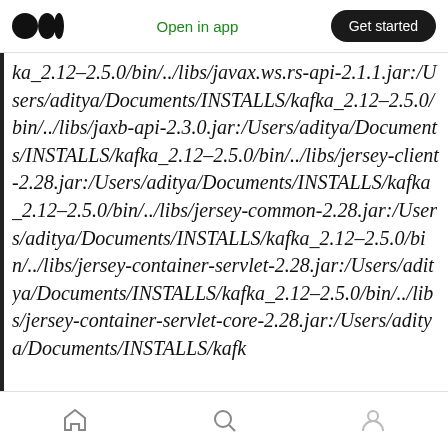Open in app | Get started
ka_2.12–2.5.0/bin/../libs/javax.ws.rs-api-2.1.1.jar:/Users/aditya/Documents/INSTALLS/kafka_2.12–2.5.0/bin/../libs/jaxb-api-2.3.0.jar:/Users/aditya/Documents/INSTALLS/kafka_2.12–2.5.0/bin/../libs/jersey-client-2.28.jar:/Users/aditya/Documents/INSTALLS/kafka_2.12–2.5.0/bin/../libs/jersey-common-2.28.jar:/Users/aditya/Documents/INSTALLS/kafka_2.12–2.5.0/bin/../libs/jersey-container-servlet-2.28.jar:/Users/aditya/Documents/INSTALLS/kafka_2.12–2.5.0/bin/../libs/jersey-container-servlet-core-2.28.jar:/Users/aditya/Documents/INSTALLS/kafk
Home | Search | Profile